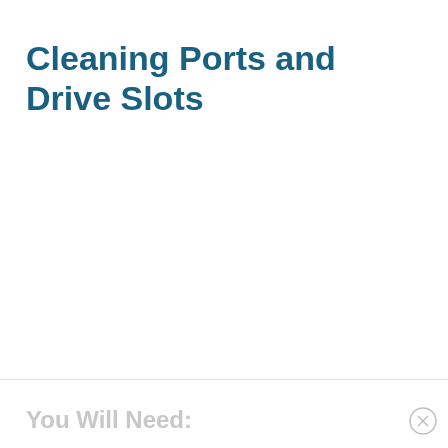Cleaning Ports and Drive Slots
You Will Need: